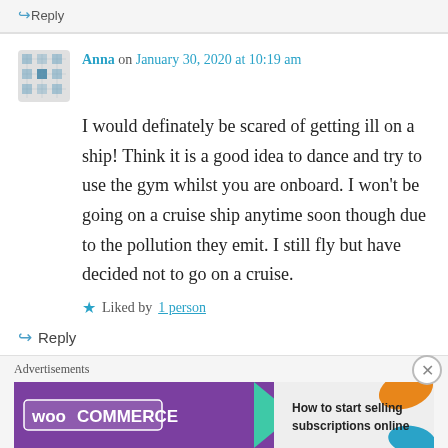↪ Reply
Anna on January 30, 2020 at 10:19 am
I would definately be scared of getting ill on a ship! Think it is a good idea to dance and try to use the gym whilst you are onboard. I won't be going on a cruise ship anytime soon though due to the pollution they emit. I still fly but have decided not to go on a cruise.
★ Liked by 1 person
↪ Reply
Advertisements
[Figure (screenshot): WooCommerce advertisement banner: purple background with WooCommerce logo and green arrow, text 'How to start selling subscriptions online']